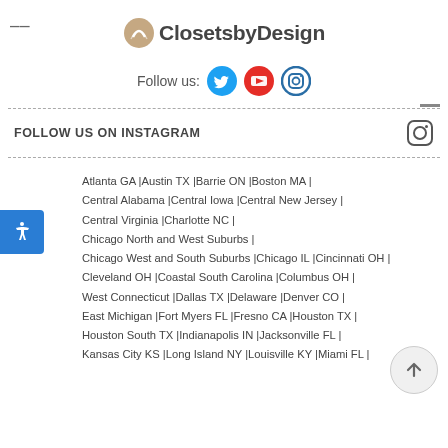[Figure (logo): Closets by Design logo with circular icon and text]
Follow us:
[Figure (infographic): Social media icons: Twitter (blue bird), YouTube (red play button), Instagram (camera outline)]
FOLLOW US ON INSTAGRAM
Atlanta GA |Austin TX |Barrie ON |Boston MA | Central Alabama |Central Iowa |Central New Jersey | Central Virginia |Charlotte NC | Chicago North and West Suburbs | Chicago West and South Suburbs |Chicago IL |Cincinnati OH | Cleveland OH |Coastal South Carolina |Columbus OH | West Connecticut |Dallas TX |Delaware |Denver CO | East Michigan |Fort Myers FL |Fresno CA |Houston TX | Houston South TX |Indianapolis IN |Jacksonville FL | Kansas City KS |Long Island NY |Louisville KY |Miami FL |